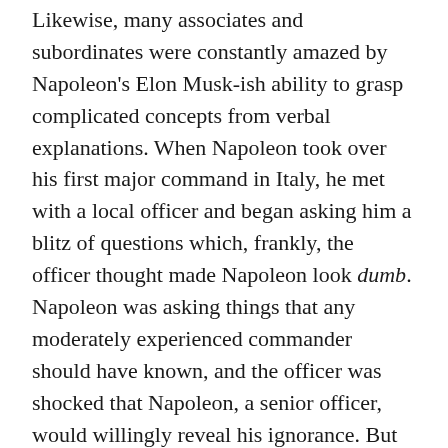Likewise, many associates and subordinates were constantly amazed by Napoleon's Elon Musk-ish ability to grasp complicated concepts from verbal explanations. When Napoleon took over his first major command in Italy, he met with a local officer and began asking him a blitz of questions which, frankly, the officer thought made Napoleon look dumb. Napoleon was asking things that any moderately experienced commander should have known, and the officer was shocked that Napoleon, a senior officer, would willingly reveal his ignorance. But as the conversation progressed over hours, the officer's evaluation slowly went back and then reversed into being impressed. Napoleon seemingly went